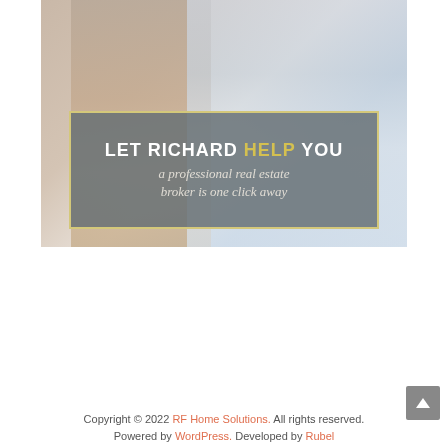[Figure (photo): A man in a brown suit standing in front of a city skyline background. Overlaid on the lower portion is a semi-transparent grey banner with a yellow border reading 'LET RICHARD HELP YOU' in bold white caps (with HELP in gold/yellow), and below in italic grey-white text 'a professional real estate broker is one click away'.]
Copyright © 2022 RF Home Solutions. All rights reserved. Powered by WordPress. Developed by Rubel